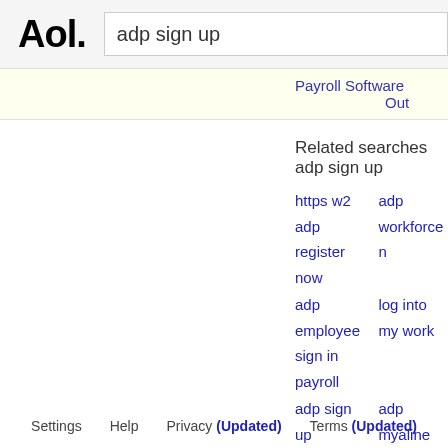Aol.  adp sign up
Payroll Software   Out
Related searches adp sign up
https w2 adp register now
adp employee sign in payroll
adp sign up employee
adp totalsource adp sign up
adp workforce n
log into my work
adp myaline wel
amazon employ
1  2  3  4  5  Next
View: Mobile | Desktop
Settings   Help   Privacy (Updated)   Terms (Updated)